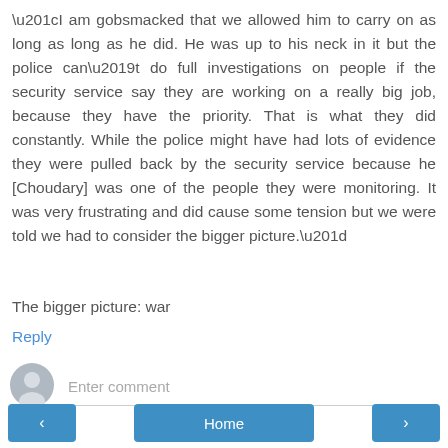“I am gobsmacked that we allowed him to carry on as long as long as he did. He was up to his neck in it but the police can’t do full investigations on people if the security service say they are working on a really big job, because they have the priority. That is what they did constantly. While the police might have had lots of evidence they were pulled back by the security service because he [Choudary] was one of the people they were monitoring. It was very frustrating and did cause some tension but we were told we had to consider the bigger picture.”
The bigger picture: war
Reply
[Figure (illustration): Gray circular user avatar icon]
Enter comment
[Figure (infographic): Navigation bar with left arrow button, Home button, and right arrow button]